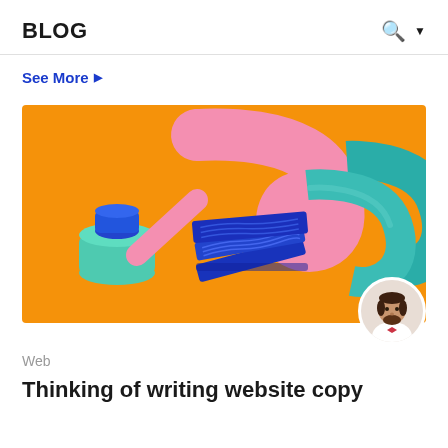BLOG
See More ▶
[Figure (illustration): Orange background illustration showing 3D-style design elements: a teal ink pot with blue lid, a large pink letter C or hook shape, blue stacked pages/cards, and teal 3D letter C shapes on the right]
Web
Thinking of writing website copy